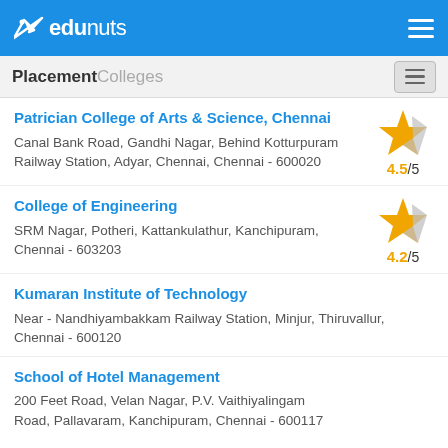edunuts
Placement Colleges
Patrician College of Arts & Science, Chennai — Canal Bank Road, Gandhi Nagar, Behind Kotturpuram Railway Station, Adyar, Chennai, Chennai - 600020 — Rating: 4.5/5
College of Engineering — SRM Nagar, Potheri, Kattankulathur, Kanchipuram, Chennai - 603203 — Rating: 4.2/5
Kumaran Institute of Technology — Near - Nandhiyambakkam Railway Station, Minjur, Thiruvallur, Chennai - 600120
School of Hotel Management — 200 Feet Road, Velan Nagar, P.V. Vaithiyalingam Road, Pallavaram, Kanchipuram, Chennai - 600117